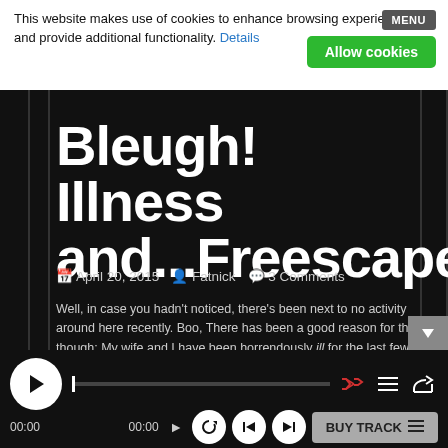This website makes use of cookies to enhance browsing experience and provide additional functionality. Details
MENU
Allow cookies
Bleugh! Illness and...Freescape
April 20, 2015  Fatnick  3 Comments
Well, in case you hadn't noticed, there's been next to no activity around here recently. Boo, There has been a good reason for that though: My wife and I have been horrendously ill for the last few weeks. Seriously. It feels like, between us, we've had pretty much every illn
00:00  00:00  BUY TRACK